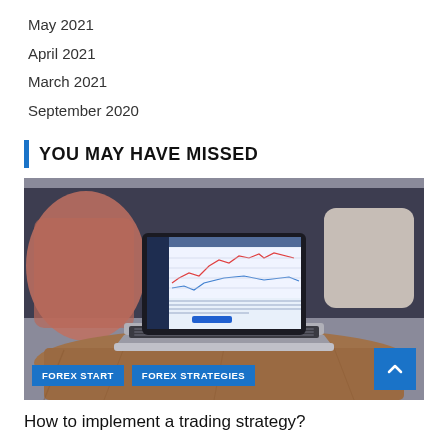May 2021
April 2021
March 2021
September 2020
YOU MAY HAVE MISSED
[Figure (photo): Laptop showing a forex trading platform with charts and data, placed on a wooden coffee table in front of a dark sofa with cushions. Blue tag buttons reading FOREX START and FOREX STRATEGIES overlay the bottom of the image. A blue scroll-to-top button is in the bottom right.]
How to implement a trading strategy?